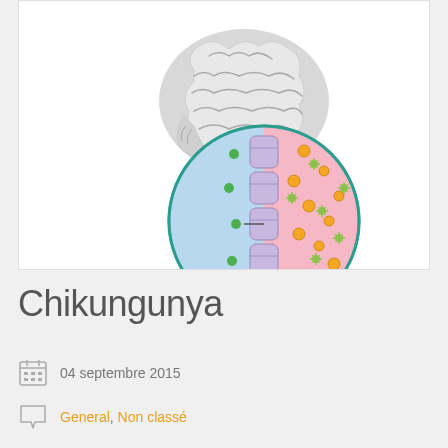[Figure (illustration): Medical illustration showing a human brain above a circular diagram depicting the blood-brain barrier. The circle shows blue spinal cord segments on the left and pink/rose inflamed tissue on the right with orange and green virus/pathogen particles scattered throughout, representing chikungunya virus neurological involvement.]
Chikungunya
04 septembre 2015
General, Non classé